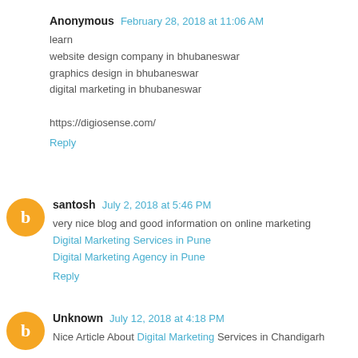Anonymous  February 28, 2018 at 11:06 AM
learn
website design company in bhubaneswar
graphics design in bhubaneswar
digital marketing in bhubaneswar

https://digiosense.com/
Reply
santosh  July 2, 2018 at 5:46 PM
very nice blog and good information on online marketing
Digital Marketing Services in Pune
Digital Marketing Agency in Pune
Reply
Unknown  July 12, 2018 at 4:18 PM
Nice Article About Digital Marketing Services in Chandigarh